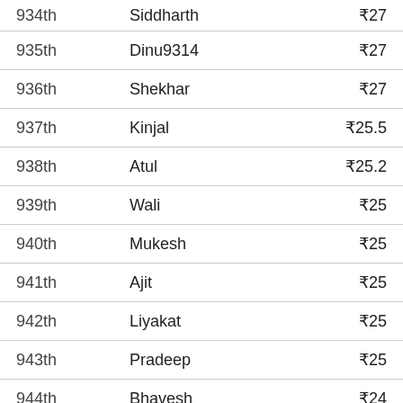| Rank | Name | Amount |
| --- | --- | --- |
| 934th | Siddharth | ₹27 |
| 935th | Dinu9314 | ₹27 |
| 936th | Shekhar | ₹27 |
| 937th | Kinjal | ₹25.5 |
| 938th | Atul | ₹25.2 |
| 939th | Wali | ₹25 |
| 940th | Mukesh | ₹25 |
| 941th | Ajit | ₹25 |
| 942th | Liyakat | ₹25 |
| 943th | Pradeep | ₹25 |
| 944th | Bhavesh | ₹24 |
| 945th | Ashok | ₹24 |